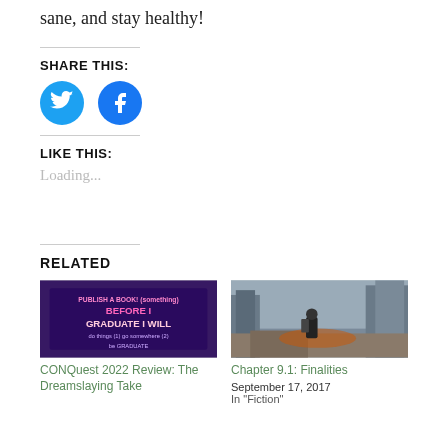sane, and stay healthy!
SHARE THIS:
[Figure (illustration): Two social media share buttons: Twitter (blue bird icon) and Facebook (blue F icon)]
LIKE THIS:
Loading...
RELATED
[Figure (photo): Chalkboard image reading 'BEFORE I GRADUATE I WILL' with various writing]
CONQuest 2022 Review: The Dreamslaying Take
[Figure (photo): Post-apocalyptic scene with armored character in ruined city]
Chapter 9.1: Finalities
September 17, 2017
In "Fiction"